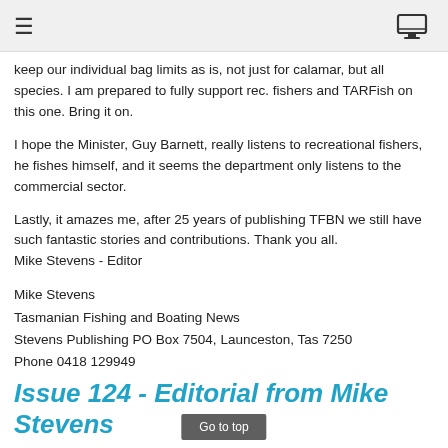≡  [monitor icon]
keep our individual bag limits as is, not just for calamar, but all species. I am prepared to fully support rec. fishers and TARFish on this one. Bring it on.
I hope the Minister, Guy Barnett, really listens to recreational fishers, he fishes himself, and it seems the department only listens to the commercial sector.
Lastly, it amazes me, after 25 years of publishing TFBN we still have such fantastic stories and contributions. Thank you all.
Mike Stevens - Editor
Mike Stevens
Tasmanian Fishing and Boating News
Stevens Publishing PO Box 7504, Launceston, Tas 7250
Phone 0418 129949
Issue 124 - Editorial from Mike Stevens